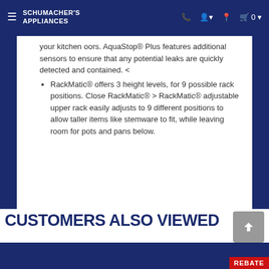Schumacher's Appliances
your kitchen oors. AquaStop® Plus features additional sensors to ensure that any potential leaks are quickly detected and contained. <
RackMatic® offers 3 height levels, for 9 possible rack positions. Close RackMatic® > RackMatic® adjustable upper rack easily adjusts to 9 different positions to allow taller items like stemware to fit, while leaving room for pots and pans below.
CUSTOMERS ALSO VIEWED